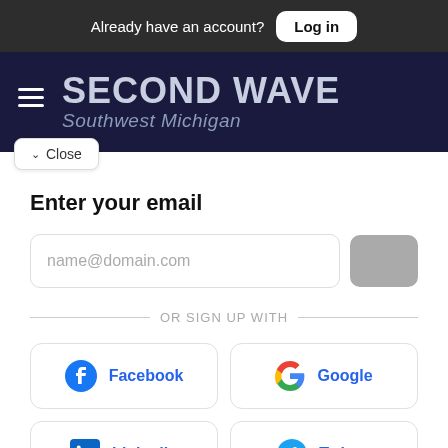Already have an account? Log in
SECOND WAVE Southwest Michigan
Close
Enter your email
name@domain.com
OR SIGN UP WITH
Facebook
Google
Linkedin
Twitter
Member profiles are powered by Pico. By signing up, you agree to Pico's Terms.